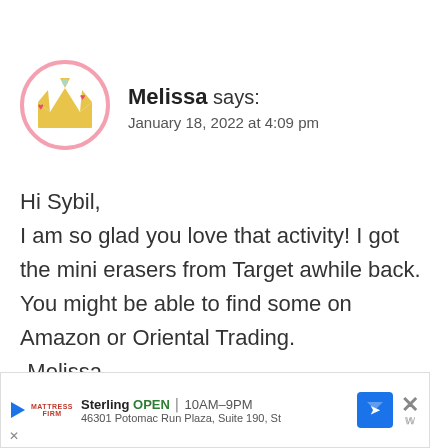[Figure (illustration): Circular avatar with pink border containing a gold crown emoji with small red hearts]
Melissa says:
January 18, 2022 at 4:09 pm
Hi Sybil,
I am so glad you love that activity! I got the mini erasers from Target awhile back. You might be able to find some on Amazon or Oriental Trading.
-Melissa
[Figure (infographic): Advertisement banner for Mattress Firm, Sterling location, OPEN 10AM-9PM, 46301 Potomac Run Plaza, Suite 190, St]